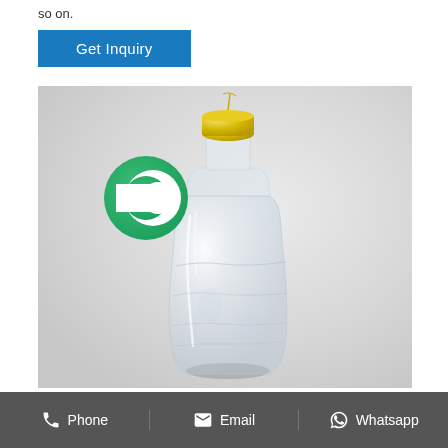so on.
Get Inquiry
[Figure (photo): A clear plastic water bottle with a yellow/straw-colored cap, wrapped in clear plastic shrink wrap. A green circular logo (C-shaped design) is visible in the upper left of the image. The bottle is photographed against a light gray background.]
Phone   Email   Whatsapp